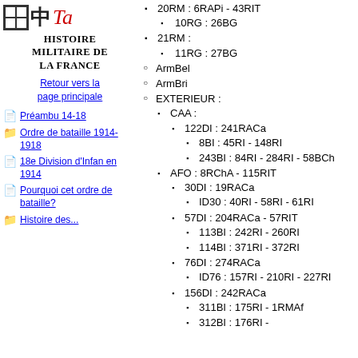Histoire militaire de la France
Retour vers la page principale
Préambu 14-18
Ordre de bataille 1914-1918
18e Division d'Infan en 1914
Pourquoi cet ordre de bataille?
Histoire des...
20RM : 6RAPi - 43RIT
10RG : 26BG
21RM :
11RG : 27BG
ArmBel
ArmBri
EXTERIEUR :
CAA :
122DI : 241RACa
8BI : 45RI - 148RI
243BI : 84RI - 284RI - 58BCh
AFO : 8RChA - 115RIT
30DI : 19RACa
ID30 : 40RI - 58RI - 61RI
57DI : 204RACa - 57RIT
113BI : 242RI - 260RI
114BI : 371RI - 372RI
76DI : 274RACa
ID76 : 157RI - 210RI - 227RI
156DI : 242RACa
311BI : 175RI - 1RMAf
312BI : 176RI -